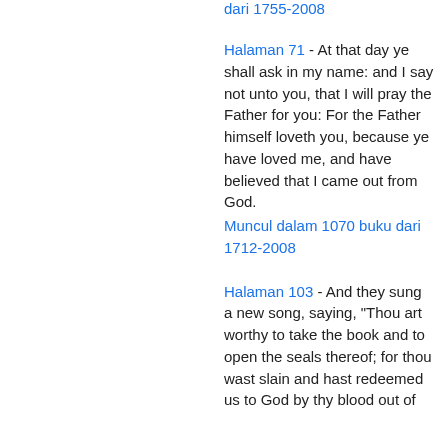dari 1755-2008
Halaman 71 - At that day ye shall ask in my name: and I say not unto you, that I will pray the Father for you: For the Father himself loveth you, because ye have loved me, and have believed that I came out from God.
Muncul dalam 1070 buku dari 1712-2008
Halaman 103 - And they sung a new song, saying, "Thou art worthy to take the book and to open the seals thereof; for thou wast slain and hast redeemed us to God by thy blood out of